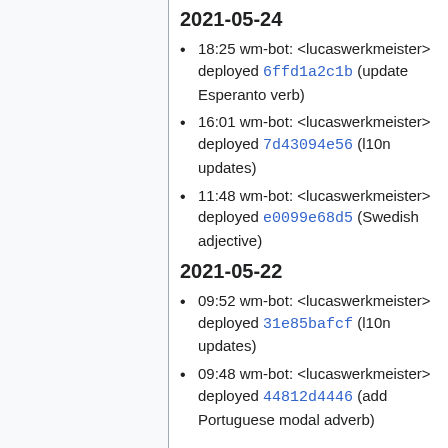2021-05-24
18:25 wm-bot: <lucaswerkmeister> deployed 6ffd1a2c1b (update Esperanto verb)
16:01 wm-bot: <lucaswerkmeister> deployed 7d43094e56 (l10n updates)
11:48 wm-bot: <lucaswerkmeister> deployed e0099e68d5 (Swedish adjective)
2021-05-22
09:52 wm-bot: <lucaswerkmeister> deployed 31e85bafcf (l10n updates)
09:48 wm-bot: <lucaswerkmeister> deployed 44812d4446 (add Portuguese modal adverb)